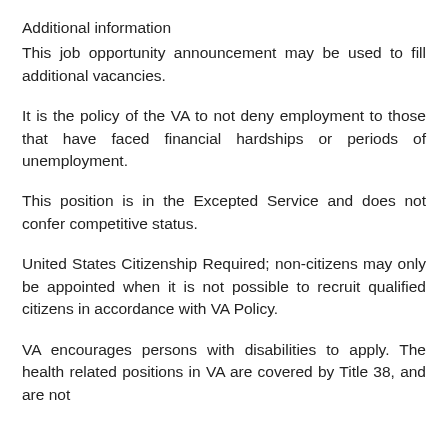Additional information
This job opportunity announcement may be used to fill additional vacancies.
It is the policy of the VA to not deny employment to those that have faced financial hardships or periods of unemployment.
This position is in the Excepted Service and does not confer competitive status.
United States Citizenship Required; non-citizens may only be appointed when it is not possible to recruit qualified citizens in accordance with VA Policy.
VA encourages persons with disabilities to apply. The health related positions in VA are covered by Title 38, and are not